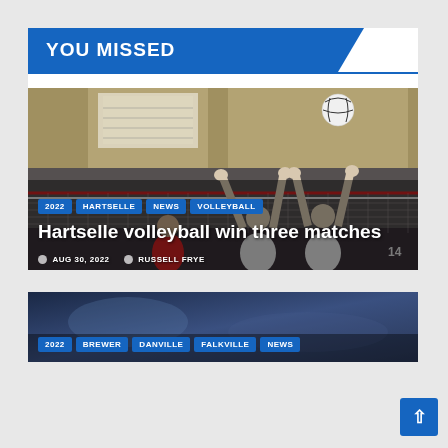YOU MISSED
[Figure (photo): Volleyball players at a net blocking, indoor gym setting with a volleyball in the air]
2022  HARTSELLE  NEWS  VOLLEYBALL
Hartselle volleyball win three matches
AUG 30, 2022  RUSSELL FRYE
[Figure (photo): Second sports article image, dark blurred background]
2022  BREWER  DANVILLE  FALKVILLE  NEWS